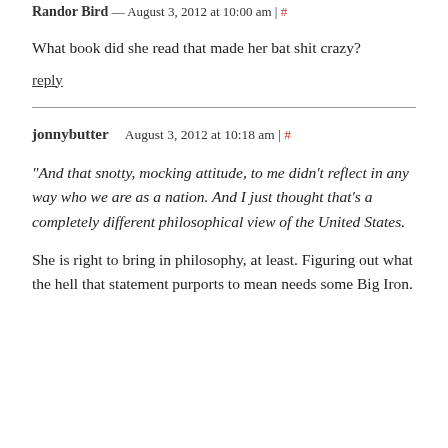Randor Bird — August 3, 2012 at 10:00 am | #
What book did she read that made her bat shit crazy?
reply
jonnybutter    August 3, 2012 at 10:18 am | #
“And that snotty, mocking attitude, to me didn’t reflect in any way who we are as a nation. And I just thought that’s a completely different philosophical view of the United States.
She is right to bring in philosophy, at least. Figuring out what the hell that statement purports to mean needs some Big Iron.